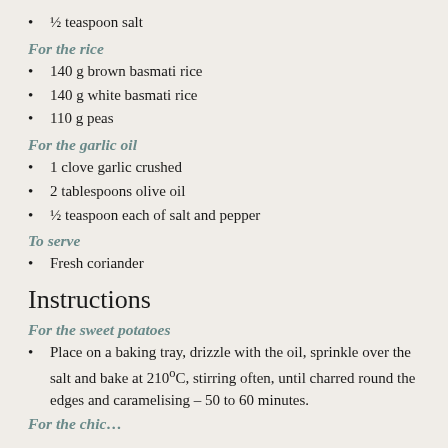½ teaspoon salt
For the rice
140 g brown basmati rice
140 g white basmati rice
110 g peas
For the garlic oil
1 clove garlic crushed
2 tablespoons olive oil
½ teaspoon each of salt and pepper
To serve
Fresh coriander
Instructions
For the sweet potatoes
Place on a baking tray, drizzle with the oil, sprinkle over the salt and bake at 210°C, stirring often, until charred round the edges and caramelising – 50 to 60 minutes.
For the chic…